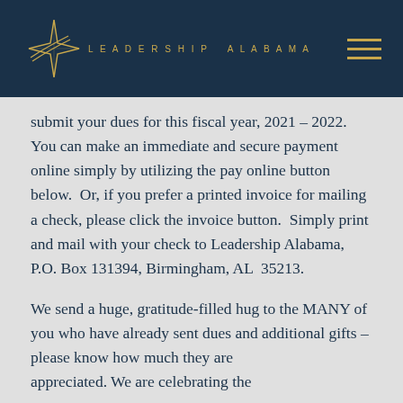Leadership Alabama
submit your dues for this fiscal year, 2021 – 2022.  You can make an immediate and secure payment online simply by utilizing the pay online button below.  Or, if you prefer a printed invoice for mailing a check, please click the invoice button.  Simply print and mail with your check to Leadership Alabama, P.O. Box 131394, Birmingham, AL  35213.
We send a huge, gratitude-filled hug to the MANY of you who have already sent dues and additional gifts – please know how much they are appreciated. We are celebrating the